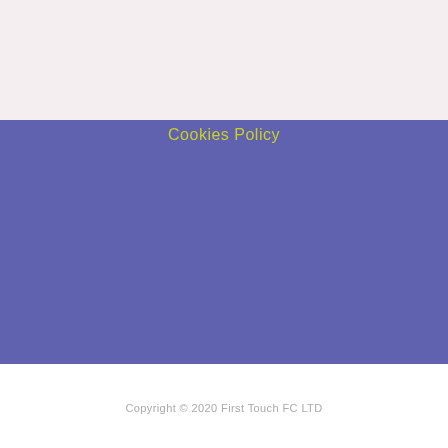[Figure (logo): First Touch FC lion mascot logo with football, blue and yellow colors, with brand text FIRST TOUCH]
Returns/Refunds Policy
Our Policy
Privacy Policy
Cookies Policy
Copyright © 2020 First Touch FC LTD